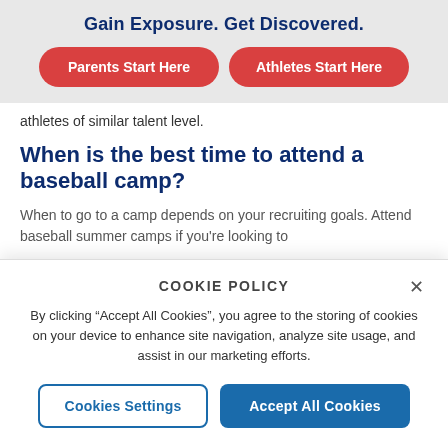Gain Exposure. Get Discovered.
[Figure (other): Two red pill-shaped buttons: 'Parents Start Here' and 'Athletes Start Here']
athletes of similar talent level.
When is the best time to attend a baseball camp?
When to go to a camp depends on your recruiting goals. Attend baseball summer camps if you're looking to
COOKIE POLICY
By clicking "Accept All Cookies", you agree to the storing of cookies on your device to enhance site navigation, analyze site usage, and assist in our marketing efforts.
[Figure (other): Two buttons: 'Cookies Settings' (outlined) and 'Accept All Cookies' (filled blue)]